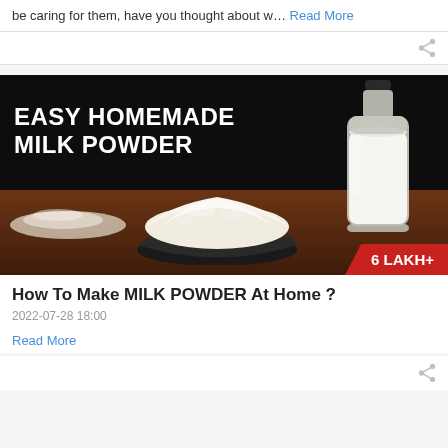be caring for them, have you thought about w… Read More
[Figure (photo): Promotional image with black background showing a bowl of white milk powder, a glass bottle of milk, and scattered powder on a wooden surface. Text overlay reads 'EASY HOMEMADE MILK POWDER' and a red badge shows '6 LAKH+']
How To Make MILK POWDER At Home ?
2022-07-28 18:00
Read More